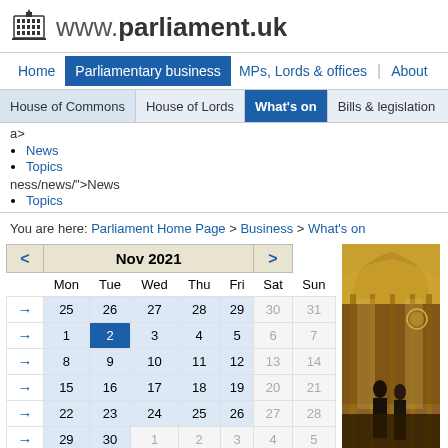www.parliament.uk
Home | Parliamentary business | MPs, Lords & offices | About
House of Commons | House of Lords | What's on | Bills & legislation
a>
News
Topics
ness/news/">News
Topics
You are here: Parliament Home Page > Business > What's on
| < | Nov 2021 | > |
| --- | --- | --- |
| Mon | Tue | Wed | Thu | Fri | Sat | Sun |
| 25 | 26 | 27 | 28 | 29 | 30 | 31 |
| 1 | 2 | 3 | 4 | 5 | 6 | 7 |
| 8 | 9 | 10 | 11 | 12 | 13 | 14 |
| 15 | 16 | 17 | 18 | 19 | 20 | 21 |
| 22 | 23 | 24 | 25 | 26 | 27 | 28 |
| 29 | 30 | 1 | 2 | 3 | 4 | 5 |
[Figure (photo): Interior of House of Lords chamber with ornate golden architecture, two figures in robes visible]